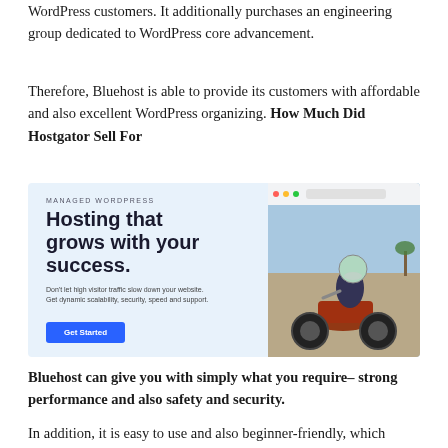WordPress customers. It additionally purchases an engineering group dedicated to WordPress core advancement.
Therefore, Bluehost is able to provide its customers with affordable and also excellent WordPress organizing. How Much Did Hostgator Sell For
[Figure (screenshot): Bluehost Managed WordPress advertisement banner showing 'Hosting that grows with your success.' headline with a woman riding a motorcycle on the right side and a Get Started button.]
Bluehost can give you with simply what you require– strong performance and also safety and security.
In addition, it is easy to use and also beginner-friendly, which again